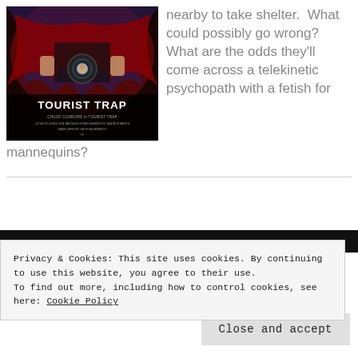[Figure (photo): Movie poster for 'Tourist Trap' featuring Chuck Connors, with dark red and blue imagery of a figure holding a camera and a woman's face reflected in the lens. Title 'TOURIST TRAP' in bold white text, with cast credits below.]
nearby to take shelter.  What could possibly go wrong?  What are the odds they'll come across a telekinetic psychopath with a fetish for mannequins?
Privacy & Cookies: This site uses cookies. By continuing to use this website, you agree to their use.
To find out more, including how to control cookies, see here: Cookie Policy
Close and accept